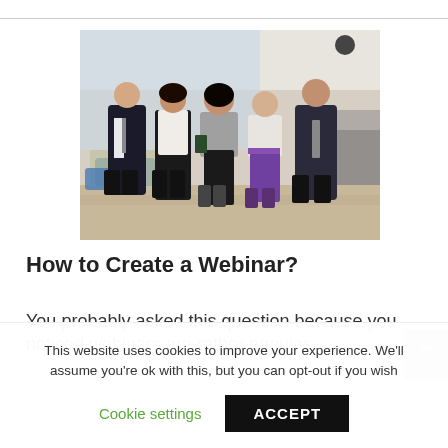[Figure (photo): Five business professionals walking together in an office corridor, dressed in formal business attire. Three women and two men, one carrying a folder/tablet.]
How to Create a Webinar?
You probably asked this question because you noticed webinars are rather popular.
This website uses cookies to improve your experience. We'll assume you're ok with this, but you can opt-out if you wish
Cookie settings
ACCEPT